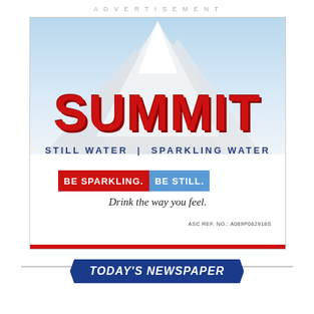ADVERTISEMENT
[Figure (illustration): Summit water advertisement. Features a mountain illustration on a light blue sky background. Large red bold text reads SUMMIT. Below: STILL WATER | SPARKLING WATER in navy blue. A tagline bar reads BE SPARKLING. BE STILL. in red and blue. Below: Drink the way you feel. ASC REF. NO.: A089P062918S. Red horizontal bar at bottom.]
TODAY'S NEWSPAPER